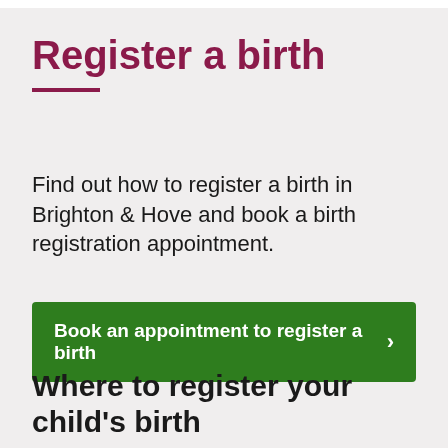Register a birth
Find out how to register a birth in Brighton & Hove and book a birth registration appointment.
Book an appointment to register a birth
Where to register your child's birth